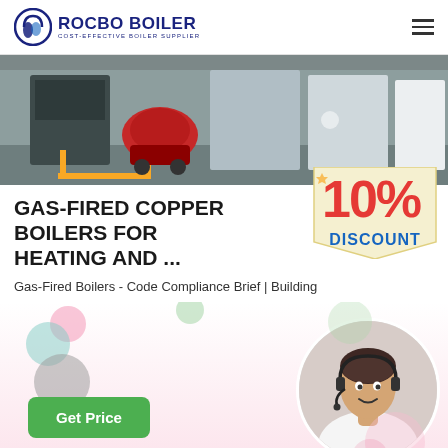[Figure (logo): Rocbo Boiler logo with circular icon and text 'ROCBO BOILER - COST-EFFECTIVE BOILER SUPPLIER']
[Figure (photo): Industrial gas-fired boiler equipment in a warehouse setting with yellow pipes and a red burner unit]
GAS-FIRED COPPER BOILERS FOR HEATING AND ...
[Figure (infographic): 10% DISCOUNT promotional badge in red and blue text on cream background]
Gas-Fired Boilers - Code Compliance Brief | Building
[Figure (photo): Customer service agent woman wearing headset, smiling, shown in circular crop]
Get Price